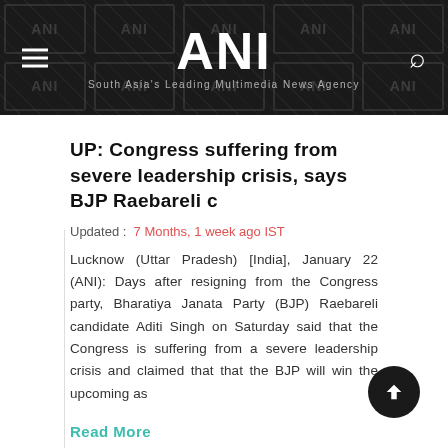ANI — South Asia's Leading Multimedia News Agency
UP: Congress suffering from severe leadership crisis, says BJP Raebareli c
Updated : 7 Months, 1 week ago IST
Lucknow (Uttar Pradesh) [India], January 22 (ANI): Days after resigning from the Congress party, Bharatiya Janata Party (BJP) Raebareli candidate Aditi Singh on Saturday said that the Congress is suffering from a severe leadership crisis and claimed that that the BJP will win the upcoming as
Read More